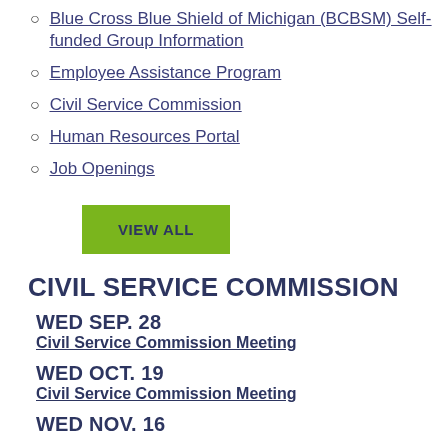Blue Cross Blue Shield of Michigan (BCBSM) Self-funded Group Information
Employee Assistance Program
Civil Service Commission
Human Resources Portal
Job Openings
VIEW ALL
CIVIL SERVICE COMMISSION
WED SEP. 28
Civil Service Commission Meeting
WED OCT. 19
Civil Service Commission Meeting
WED NOV. 16